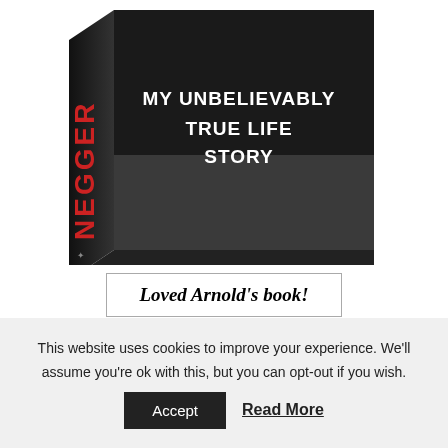[Figure (photo): Book cover of Arnold Schwarzenegger's autobiography 'Total Recall: My Unbelievably True Life Story' shown at an angle. The cover features a black and white photo of a man's face and red lettered text spelling NEGGER (partial, rotated on spine) with white text 'MY UNBELIEVABLY TRUE LIFE STORY'.]
Loved Arnold's book!
We had both finished reading Arnold’s autobiography, Total Recall, and was in awe of the man and his accomplishments. Arnold’s list of record breaking successes is staggering.
This website uses cookies to improve your experience. We’ll assume you’re ok with this, but you can opt-out if you wish.
Accept
Read More